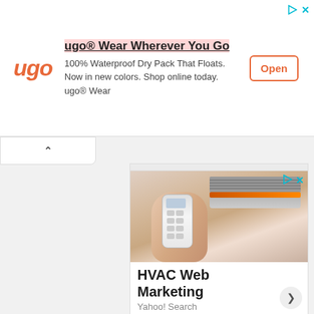[Figure (infographic): ugo Wear advertisement banner. Logo in orange italic text 'ugo', title 'ugo® Wear Wherever You Go' highlighted in pink, body text '100% Waterproof Dry Pack That Floats. Now in new colors. Shop online today. ugo® Wear', and an orange-bordered 'Open' button.]
[Figure (infographic): HVAC Web Marketing advertisement showing a person holding an air conditioner remote control pointed at an AC unit, with text 'HVAC Web Marketing' and 'Yahoo! Search' below, and a chevron arrow button.]